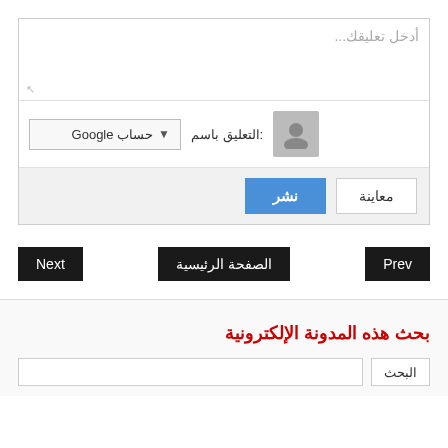[Figure (screenshot): Comment form with placeholder text 'أدخل تعليقك...', a Google account selector labeled 'التعليق باسم:', an avatar icon, a 'نشر' (Publish) blue button, and a 'معاينة' (Preview) button on a grey background.]
[Figure (screenshot): Navigation buttons: 'Next' on left, 'الصفحة الرئيسية' in center, 'Prev' on right, all black buttons.]
بحث هذه المدونة الإلكترونية
[Figure (screenshot): Search bar with Arabic 'البحث' button and an input field.]